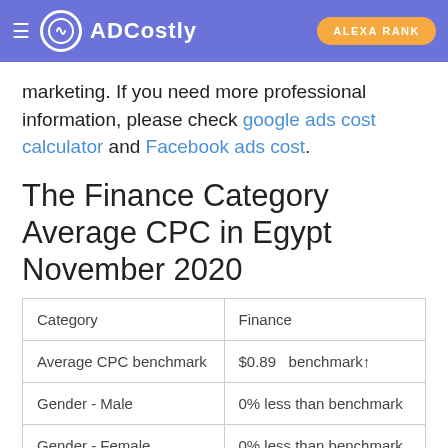ADCostly | ALEXA RANK
marketing. If you need more professional information, please check google ads cost calculator and Facebook ads cost.
The Finance Category Average CPC in Egypt November 2020
| Category | Finance |
| --- | --- |
| Average CPC benchmark | $0.89   benchmark↑ |
| Gender - Male | 0% less than benchmark |
| Gender - Female | 0% less than benchmark |
|  |  |